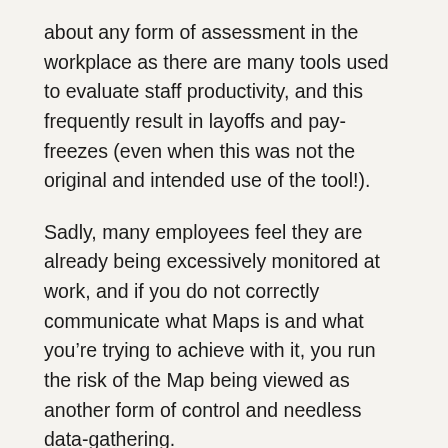about any form of assessment in the workplace as there are many tools used to evaluate staff productivity, and this frequently result in layoffs and pay-freezes (even when this was not the original and intended use of the tool!).
Sadly, many employees feel they are already being excessively monitored at work, and if you do not correctly communicate what Maps is and what you're trying to achieve with it, you run the risk of the Map being viewed as another form of control and needless data-gathering.
Reassure your staff, therefore, that the Maps is not linked pay-reviews, is not an evaluation tool, and that the aim is to develop your people and empower the employee by revealing what really drives them.